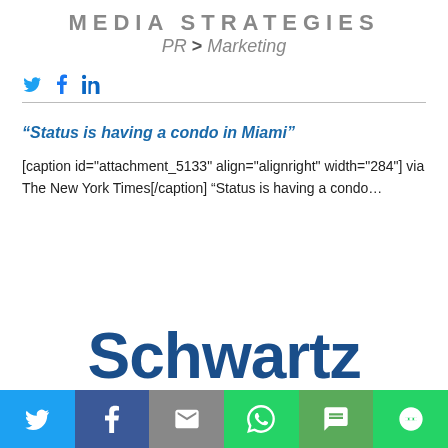MEDIA STRATEGIES
PR > Marketing
🐦 f in
“Status is having a condo in Miami”
[caption id="attachment_5133" align="alignright" width="284"] via The New York Times[/caption] “Status is having a condo…
[Figure (logo): Schwartz Media Strategies logo — large bold dark blue text reading 'Schwartz']
Share bar with Twitter, Facebook, Email, WhatsApp, SMS, More buttons